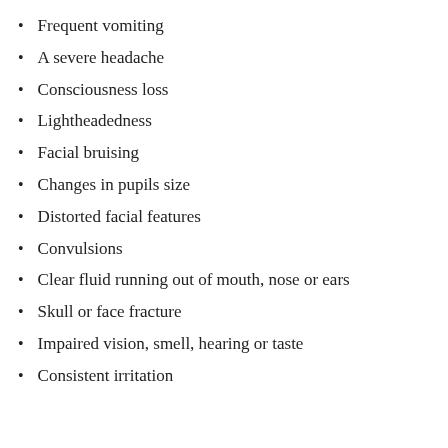Frequent vomiting
A severe headache
Consciousness loss
Lightheadedness
Facial bruising
Changes in pupils size
Distorted facial features
Convulsions
Clear fluid running out of mouth, nose or ears
Skull or face fracture
Impaired vision, smell, hearing or taste
Consistent irritation